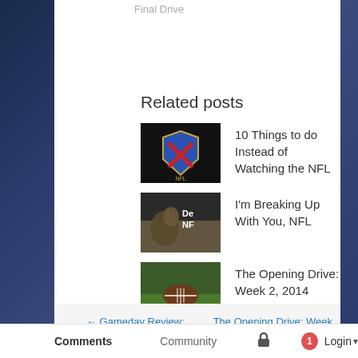Final Drive
Related posts
10 Things to do Instead of Watching the NFL
I'm Breaking Up With You, NFL
The Opening Drive: Week 2, 2014
← Gameday Review: Eagles 54, Bears 11
The Opening Drive: Week 17, 2013 →
Comments   Community   🔒   1   Login